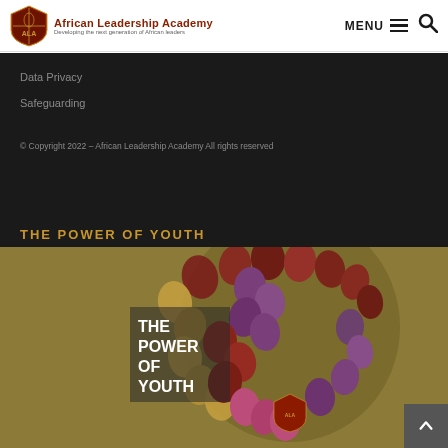African Leadership Academy – Developing the next generation of African leaders
Data Privacy
Safeguarding
© Copyright 2022 – African Leadership Academy All rights reserved
THE POWER OF YOUTH
[Figure (illustration): Book cover illustration showing a silhouette of a human head made up of colorful leaf-shaped figures in red, purple, and gold tones, with white bold text reading 'THE POWER OF YOUTH' overlaid, and the ALA shield logo at the bottom center. Background is olive/khaki gold color.]